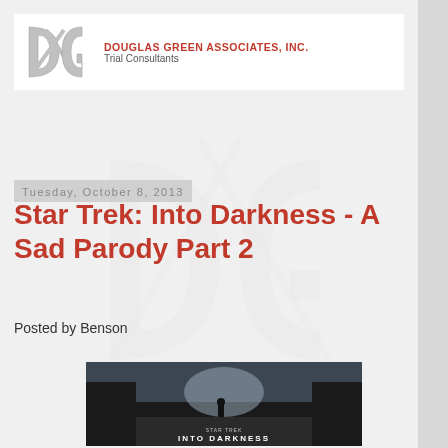DOUGLAS GREEN ASSOCIATES, INC. Trial Consultants
Tuesday, October 8, 2013
Star Trek: Into Darkness - A Sad Parody Part 2
Posted by Benson
[Figure (photo): Star Trek: Into Darkness movie poster showing a dark figure standing on rubble with a cityscape in the background and the text 'STAR TREK INTO DARKNESS']